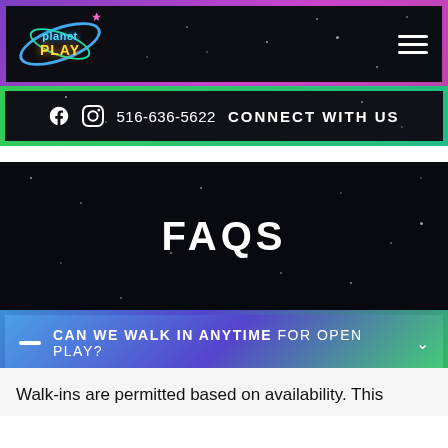[Figure (logo): Planet Play logo with blue planet, orbits, stars, yellow PLAY text]
Planet Play navigation header with hamburger menu
516-636-5622  CONNECT WITH US
FAQS
CAN WE WALK IN ANYTIME FOR OPEN PLAY?
Walk-ins are permitted based on availability. This